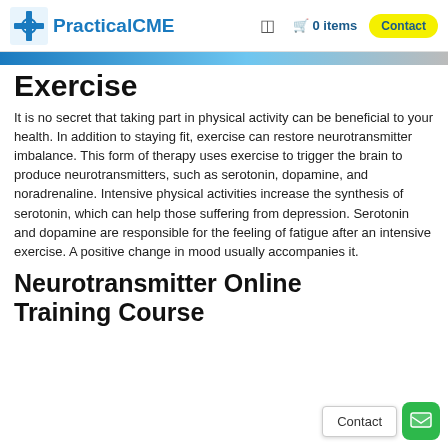PracticalCME | 0 items | Contact
Exercise
It is no secret that taking part in physical activity can be beneficial to your health. In addition to staying fit, exercise can restore neurotransmitter imbalance. This form of therapy uses exercise to trigger the brain to produce neurotransmitters, such as serotonin, dopamine, and noradrenaline. Intensive physical activities increase the synthesis of serotonin, which can help those suffering from depression. Serotonin and dopamine are responsible for the feeling of fatigue after an intensive exercise. A positive change in mood usually accompanies it.
Neurotransmitter Online Training Course
Contact